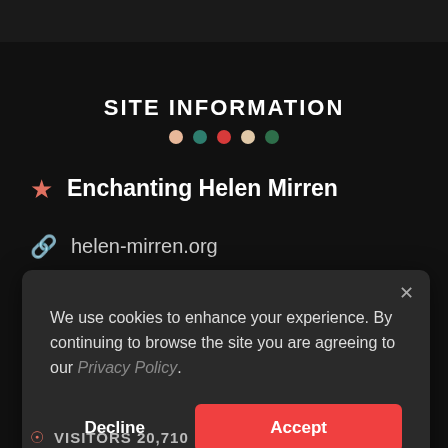SITE INFORMATION
Enchanting Helen Mirren
helen-mirren.org
We use cookies to enhance your experience. By continuing to browse the site you are agreeing to our Privacy Policy.
Decline
Accept
VISITORS 20,710